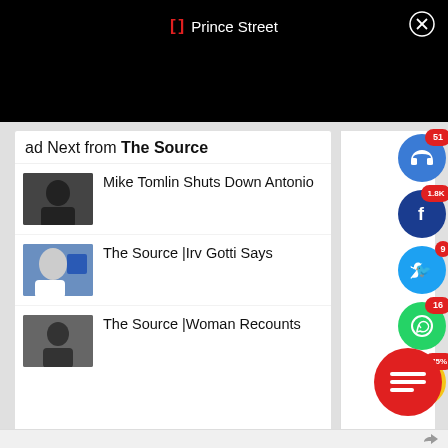Prince Street
ad Next from The Source
Featured Advertising
Mike Tomlin Shuts Down Antonio
The Source |Irv Gotti Says
The Source |Woman Recounts